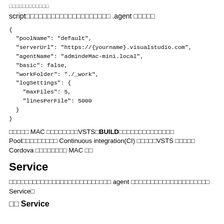□□□□□□□□□□□□
script□□□□□□□□□□□□□□□□□□□□ .agent □□□□□
{
  "poolName": "default",
  "serverUrl": "https://{yourname}.visualstudio.com",
  "agentName": "admindeMac-mini.local",
  "basic": false,
  "workFolder": "./_work",
  "logSettings": {
    "maxFiles": 5,
    "linesPerFile": 5000
  }
}
□□□□□ MAC □□□□□□□□VSTS□BUILD□□□□□□□□□□□□□□ Pool□□□□□□□□□ Continuous integration(CI) □□□□□VSTS □□□□□ Cordova □□□□□□□□ MAC □□
Service
□□□□□□□□□□□□□□□□□□□□□□□□□□ agent □□□□□□□□□□□□□□□□□□□□ Service□
□□ Service